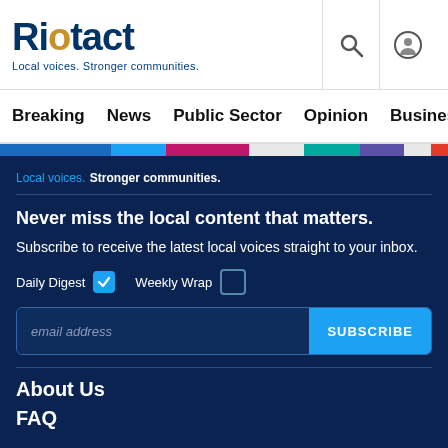Riotact — Local voices. Stronger communities.
Breaking  News  Public Sector  Opinion  Business
Local voices. Stronger communities.
Never miss the local content that matters.
Subscribe to receive the latest local voices straight to your inbox.
Daily Digest  [checked]  Weekly Wrap  [unchecked]
email address  SUBSCRIBE
About Us
FAQ